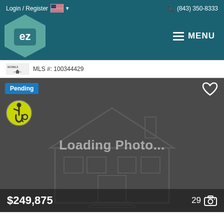Login / Register  (843) 350-8333  MENU
MLS #: 100344429
[Figure (screenshot): Real estate listing photo placeholder showing a gray loading screen with a faint house outline and 'Loading Photo...' text. Shows Pending badge, accessibility icon, heart icon, price $249,875, and photo count 29.]
$249,875  29